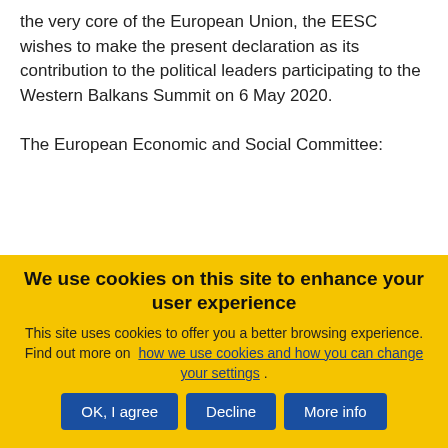the very core of the European Union, the EESC wishes to make the present declaration as its contribution to the political leaders participating to the Western Balkans Summit on 6 May 2020.
The European Economic and Social Committee:
1.  congratulates the Croatian Presidency on its commitment to holding the EU-Western Balkans
We use cookies on this site to enhance your user experience
This site uses cookies to offer you a better browsing experience. Find out more on how we use cookies and how you can change your settings .